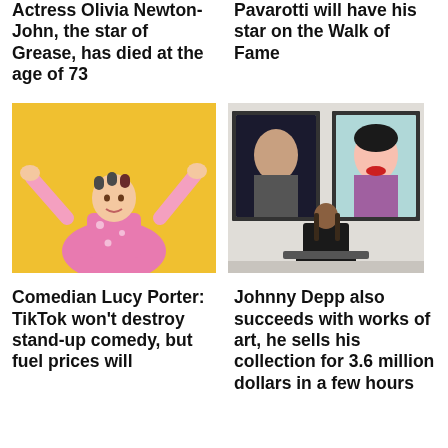Actress Olivia Newton-John, the star of Grease, has died at the age of 73
Pavarotti will have his star on the Walk of Fame
[Figure (photo): Woman in pink floral outfit with hair rollers, arms raised joyfully against yellow background]
[Figure (photo): Person in black sitting in front of two Andy Warhol-style portrait paintings on a white gallery wall]
Comedian Lucy Porter: TikTok won't destroy stand-up comedy, but fuel prices will
Johnny Depp also succeeds with works of art, he sells his collection for 3.6 million dollars in a few hours